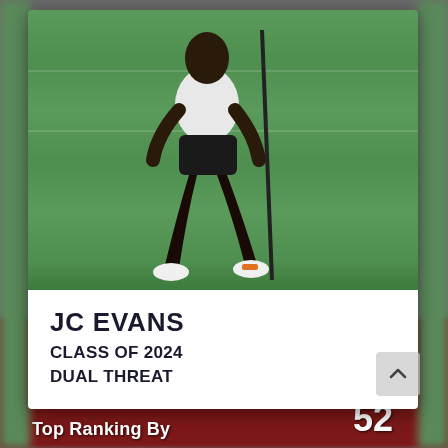[Figure (photo): Athlete on a green football field, running, wearing white top, black shorts, white sneakers with orange accents. Field has white yard lines visible.]
JC EVANS
CLASS OF 2024
DUAL THREAT
Top Ranking By
52